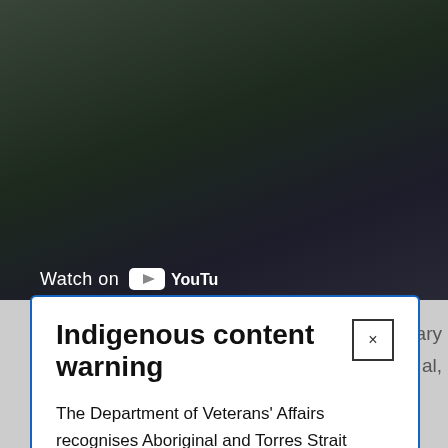[Figure (screenshot): YouTube video embed showing a person, with 'Watch on YouTube' overlay at the bottom left]
Indigenous content warning
The Department of Veterans' Affairs recognises Aboriginal and Torres Strait Islander peoples as the First Nation Peoples of Australia and acknowledges their continuing spiritual, cultural, social and economic connection to Australia's lands and waters.